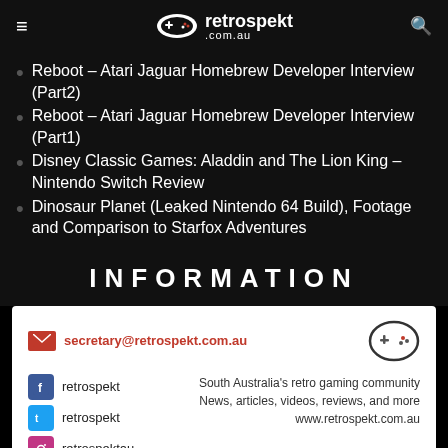retrospekt.com.au
Reboot – Atari Jaguar Homebrew Developer Interview (Part2)
Reboot – Atari Jaguar Homebrew Developer Interview (Part1)
Disney Classic Games: Aladdin and The Lion King – Nintendo Switch Review
Dinosaur Planet (Leaked Nintendo 64 Build), Footage and Comparison to Starfox Adventures
INFORMATION
secretary@retrospekt.com.au
retrospekt (Facebook)
retrospekt (Twitter)
retrospektau (Instagram)
South Australia's retro gaming community
News, articles, videos, reviews, and more
www.retrospekt.com.au